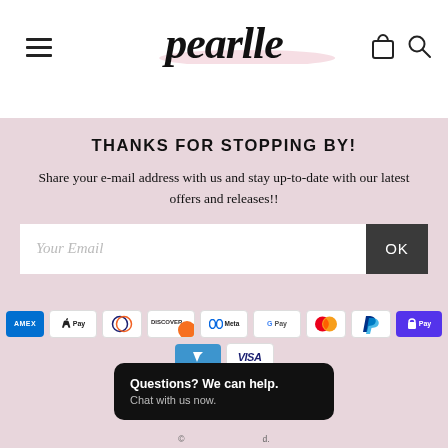pearlle
THANKS FOR STOPPING BY!
Share your e-mail address with us and stay up-to-date with our latest offers and releases!!
[Figure (other): Email signup form with 'Your Email' text input field and dark 'OK' button]
[Figure (other): Payment method icons: Amex, Apple Pay, Diners Club, Discover, Meta Pay, Google Pay, Mastercard, PayPal, Shop Pay, Venmo, Visa]
Questions? We can help. Chat with us now.
©  d.